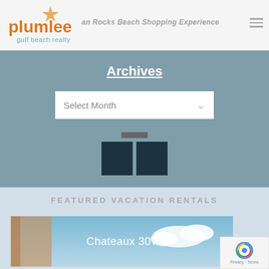[Figure (logo): Plumlee Gulf Beach Realty logo with orange star and text]
Indian Rocks Beach Shopping Experience
Archives
[Figure (screenshot): Select Month dropdown with chevron arrow]
FEATURED VACATION RENTALS
[Figure (photo): Chateaux 307 property card with sky background and white text]
[Figure (other): reCAPTCHA badge with Privacy and Terms text]